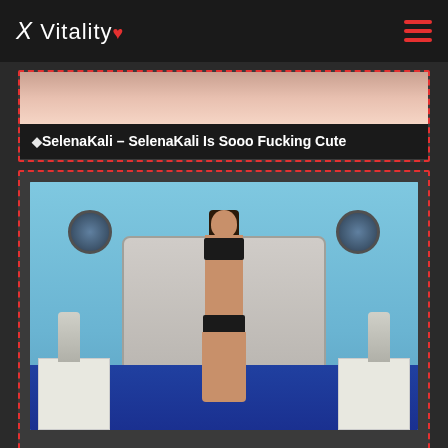X Vitality ♥
🔷SelenaKali – SelenaKali Is Sooo Fucking Cute
[Figure (photo): Young woman in black lingerie posing in front of a blue headboard on a bed, with nightstands and lamps on each side, decorative mirrors on wall]
🔷SophieBoucher